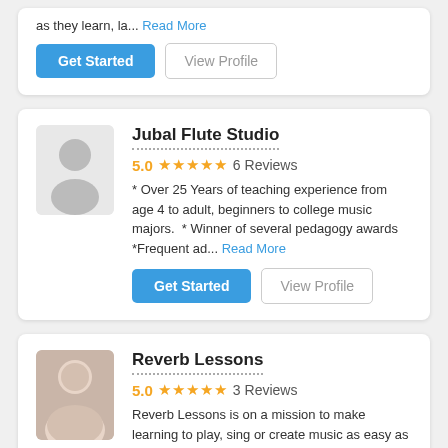as they learn, la... Read More
Get Started | View Profile
Jubal Flute Studio
5.0  ★★★★★  6 Reviews
* Over 25 Years of teaching experience from age 4 to adult, beginners to college music majors.  * Winner of several pedagogy awards *Frequent ad... Read More
Get Started | View Profile
Reverb Lessons
5.0  ★★★★★  3 Reviews
Reverb Lessons is on a mission to make learning to play, sing or create music as easy as possible. Unlike a traditional music lesson company, Reverb... Read More